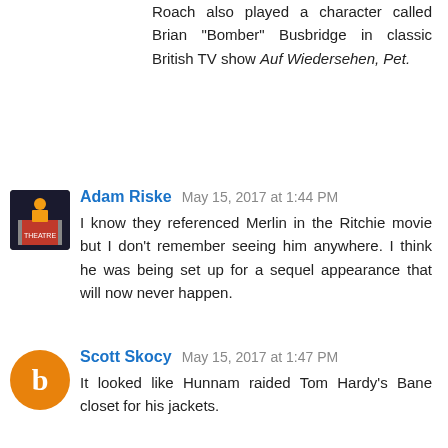Roach also played a character called Brian "Bomber" Busbridge in classic British TV show Auf Wiedersehen, Pet.
Adam Riske  May 15, 2017 at 1:44 PM
I know they referenced Merlin in the Ritchie movie but I don't remember seeing him anywhere. I think he was being set up for a sequel appearance that will now never happen.
Scott Skocy  May 15, 2017 at 1:47 PM
It looked like Hunnam raided Tom Hardy's Bane closet for his jackets.
Adam Riske  May 15, 2017 at 1:49 PM
I liked how his intro was the classic "I'm having a nightmare and my shirt is so sweaty. Lemme take it off and ooops you're gonna see how much